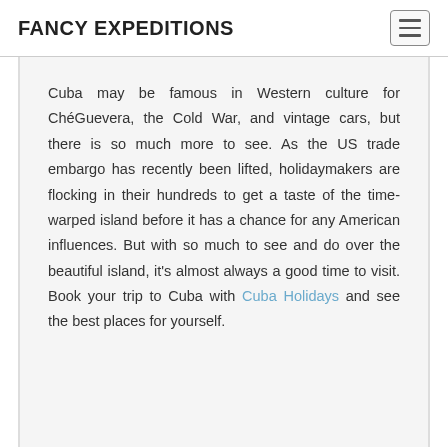FANCY EXPEDITIONS
Cuba may be famous in Western culture for ChéGuevera, the Cold War, and vintage cars, but there is so much more to see. As the US trade embargo has recently been lifted, holidaymakers are flocking in their hundreds to get a taste of the time-warped island before it has a chance for any American influences. But with so much to see and do over the beautiful island, it's almost always a good time to visit. Book your trip to Cuba with Cuba Holidays and see the best places for yourself.